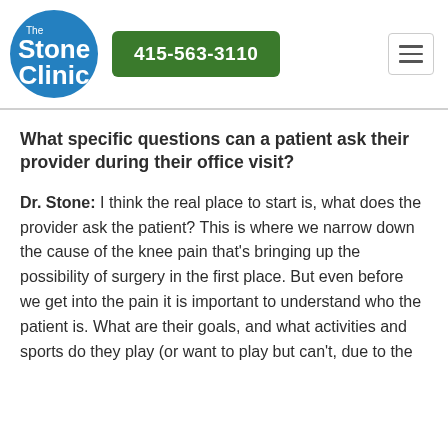[Figure (logo): The Stone Clinic circular blue logo with white text]
415-563-3110
What specific questions can a patient ask their provider during their office visit?
Dr. Stone: I think the real place to start is, what does the provider ask the patient? This is where we narrow down the cause of the knee pain that's bringing up the possibility of surgery in the first place. But even before we get into the pain it is important to understand who the patient is. What are their goals, and what activities and sports do they play (or want to play but can't, due to the